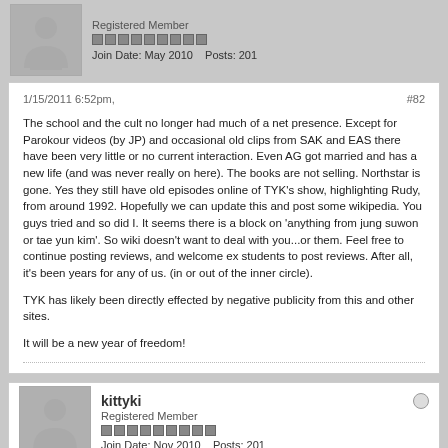Registered Member
Join Date: May 2010   Posts: 201
1/15/2011 6:52pm,
#82
The school and the cult no longer had much of a net presence. Except for Parokour videos (by JP) and occasional old clips from SAK and EAS there have been very little or no current interaction. Even AG got married and has a new life (and was never really on here). The books are not selling. Northstar is gone. Yes they still have old episodes online of TYK's show, highlighting Rudy, from around 1992. Hopefully we can update this and post some wikipedia. You guys tried and so did I. It seems there is a block on 'anything from jung suwon or tae yun kim'. So wiki doesn't want to deal with you...or them. Feel free to continue posting reviews, and welcome ex students to post reviews. After all, it's been years for any of us. (in or out of the inner circle).

TYK has likely been directly effected by negative publicity from this and other sites.

It will be a new year of freedom!
kittyki
Registered Member
Join Date: Nov 2010   Posts: 201